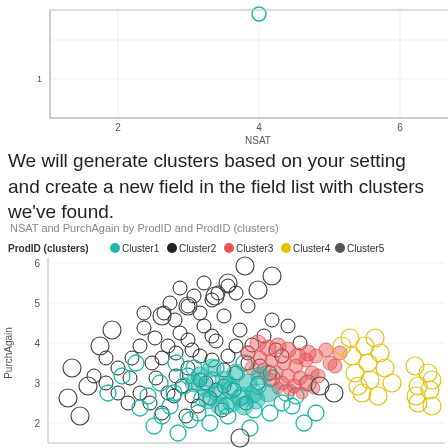[Figure (continuous-plot): Top portion showing two partial charts: a scatter plot on the left with NSAT axis (values 2,4,6) and a line chart on the right showing trends from 2012 with 0.0M label, multiple colored lines (teal, red, black)]
We will generate clusters based on your setting and create a new field in the field list with clusters we've found.
NSAT and PurchAgain by ProdID and ProdID (clusters)
[Figure (scatter-plot): Scatter plot showing NSAT vs PurchAgain data points colored by cluster: Cluster1 (teal), Cluster2 (dark/black), Cluster3 (red/salmon), Cluster4 (yellow), Cluster5 (dark gray). Y-axis: PurchAgain 2-6, dense overlapping circles forming cluster shapes. Legend: ProdID (clusters) Cluster1 Cluster2 Cluster3 Cluster4 Cluster5]